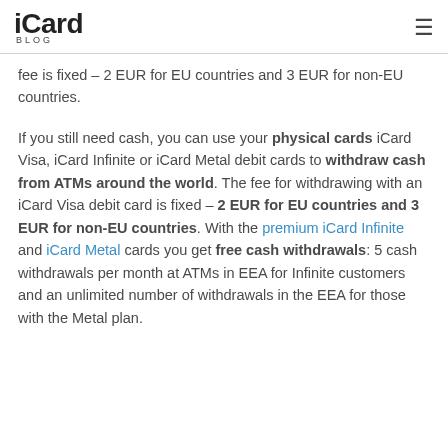iCard BLOG
fee is fixed – 2 EUR for EU countries and 3 EUR for non-EU countries.
If you still need cash, you can use your physical cards iCard Visa, iCard Infinite or iCard Metal debit cards to withdraw cash from ATMs around the world. The fee for withdrawing with an iCard Visa debit card is fixed – 2 EUR for EU countries and 3 EUR for non-EU countries. With the premium iCard Infinite and iCard Metal cards you get free cash withdrawals: 5 cash withdrawals per month at ATMs in EEA for Infinite customers and an unlimited number of withdrawals in the EEA for those with the Metal plan.